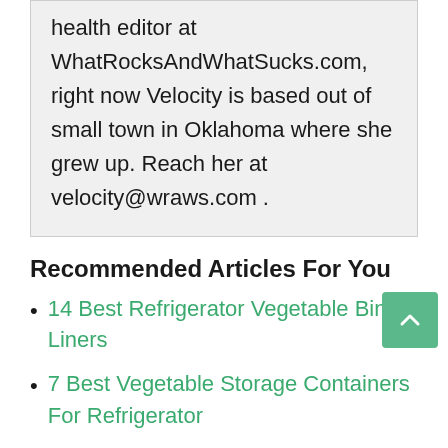health editor at WhatRocksAndWhatSucks.com, right now Velocity is based out of small town in Oklahoma where she grew up. Reach her at velocity@wraws.com .
Recommended Articles For You
14 Best Refrigerator Vegetable Bin Liners
7 Best Vegetable Storage Containers For Refrigerator